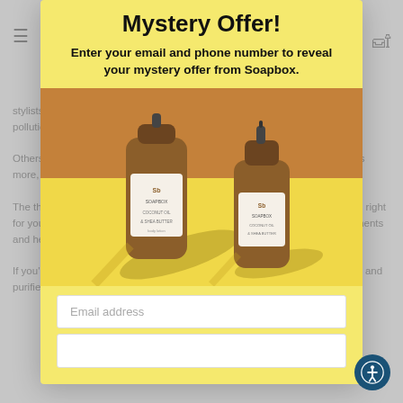Mystery Offer!
Enter your email and phone number to reveal your mystery offer from Soapbox.
[Figure (photo): Two amber/brown Soapbox brand lotion/soap bottles with pump dispensers, photographed on a yellow and brown background with dramatic shadows.]
Email address